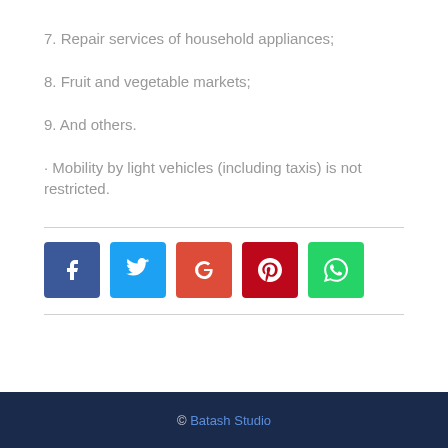7. Repair services of household appliances;
8. Fruit and vegetable markets;
9. And others.
· Mobility by light vehicles (including taxis) is not restricted.
[Figure (other): Social media share buttons: Facebook (blue), Twitter (light blue), Google+ (red-orange), Pinterest (dark red), WhatsApp (green)]
© Batash Studio